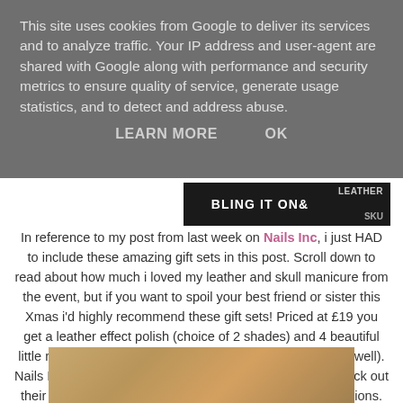This site uses cookies from Google to deliver its services and to analyze traffic. Your IP address and user-agent are shared with Google along with performance and security metrics to ensure quality of service, generate usage statistics, and to detect and address abuse.
LEARN MORE    OK
[Figure (screenshot): Partial image showing text 'LEATHER' and 'BLING IT ON & SKU...' on a dark background]
In reference to my post from last week on Nails Inc, i just HAD to include these amazing gift sets in this post. Scroll down to read about how much i loved my leather and skull manicure from the event, but if you want to spoil your best friend or sister this Xmas i'd highly recommend these gift sets! Priced at £19 you get a leather effect polish (choice of 2 shades) and 4 beautiful little rhinestone skull decals (which actually stay on VERY well). Nails Inc are also doing other gift sets similar to this so check out their Website or go along to one of their stores or concessions.
[Figure (photo): Bottom portion of a photo showing what appears to be a gold/beige clutch bag and nail polish products]